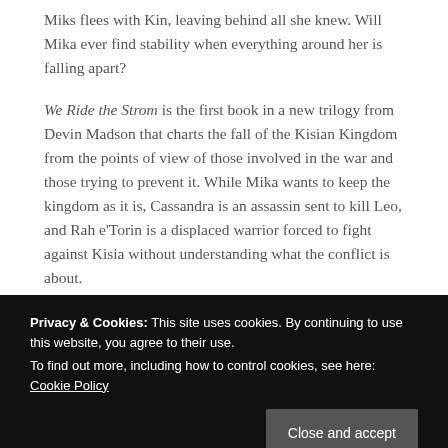Miks flees with Kin, leaving behind all she knew. Will Mika ever find stability when everything around her is falling apart?
We Ride the Strom is the first book in a new trilogy from Devin Madson that charts the fall of the Kisian Kingdom from the points of view of those involved in the war and those trying to prevent it. While Mika wants to keep the kingdom as it is, Cassandra is an assassin sent to kill Leo, and Rah e'Torin is a displaced warrior forced to fight against Kisia without understanding what the conflict is about.
Mika is a compelling character because of her level-
impact of the situation on the kingdom. Mika is a well-
Privacy & Cookies: This site uses cookies. By continuing to use this website, you agree to their use.
To find out more, including how to control cookies, see here: Cookie Policy